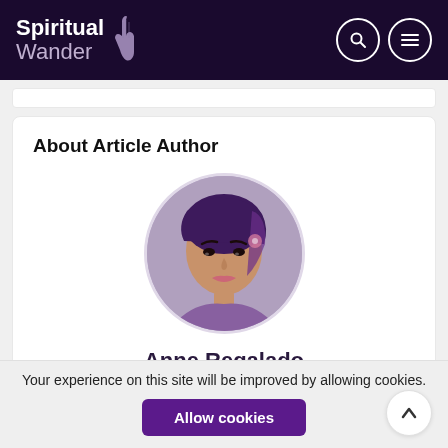Spiritual Wander
About Article Author
[Figure (photo): Circular profile photo of Anne Regalado, a woman with purple hair and dramatic makeup]
Anne Regalado
Your experience on this site will be improved by allowing cookies.
Allow cookies